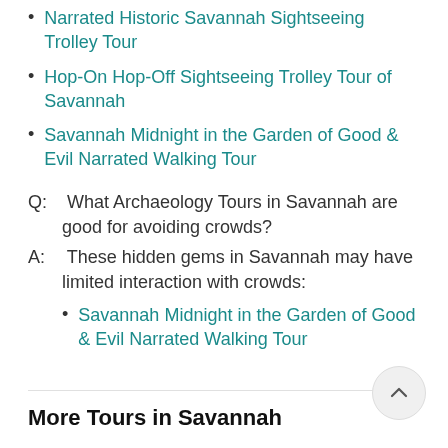Narrated Historic Savannah Sightseeing Trolley Tour
Hop-On Hop-Off Sightseeing Trolley Tour of Savannah
Savannah Midnight in the Garden of Good & Evil Narrated Walking Tour
Q:  What Archaeology Tours in Savannah are good for avoiding crowds?
A:  These hidden gems in Savannah may have limited interaction with crowds:
Savannah Midnight in the Garden of Good & Evil Narrated Walking Tour
More Tours in Savannah